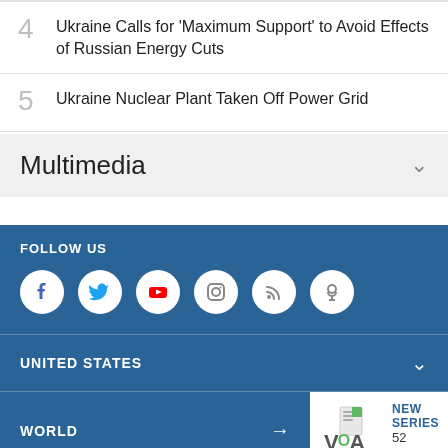4 Ukraine Calls for 'Maximum Support' to Avoid Effects of Russian Energy Cuts
5 Ukraine Nuclear Plant Taken Off Power Grid
Multimedia
FOLLOW US
[Figure (illustration): Social media icons in white circles: Facebook, Twitter, YouTube, Instagram, RSS, Podcast]
UNITED STATES
WORLD
[Figure (logo): VOA logo with NEW SERIES label and '52 Documenta' text]
SECTIONS